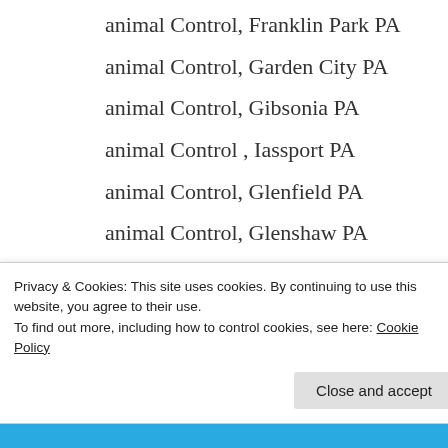animal Control, Franklin Park PA
animal Control, Garden City PA
animal Control, Gibsonia PA
animal Control , Iassport PA
animal Control, Glenfield PA
animal Control, Glenshaw PA
animal Control, Glenwood, Green Tree, ,Greenfield PA animal Control Greenock, Harwick, Hays Haysville, Hazelwood, Heidelberg
Privacy & Cookies: This site uses cookies. By continuing to use this website, you agree to their use.
To find out more, including how to control cookies, see here: Cookie Policy
Close and accept